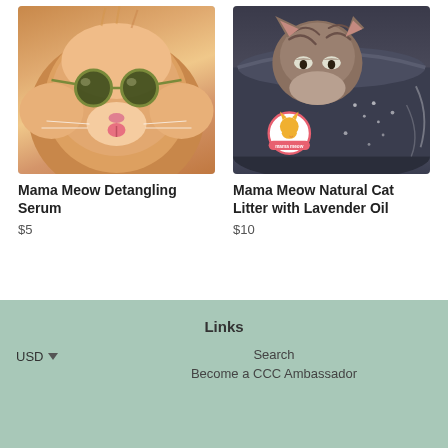[Figure (photo): Orange fluffy cat wearing round mirrored sunglasses, licking its nose, close-up portrait]
Mama Meow Detangling Serum
$5
[Figure (photo): Tabby cat sitting in a dark litter box, with Mama Meow brand logo overlay in the lower left corner]
Mama Meow Natural Cat Litter with Lavender Oil
$10
Links
USD
Search
Become a CCC Ambassador